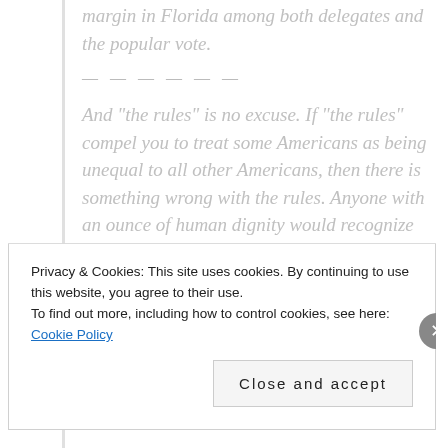margin in Florida among both delegates and the popular vote.
— — — — — —
And “the rules” is no excuse. If “the rules” compel you to treat some Americans as being unequal to all other Americans, then there is something wrong with the rules. Anyone with an ounce of human dignity would recognize this, and take the easy and appropriate step of resigning from the RBC rather than enforce a provision of the rules that is an insult to
Privacy & Cookies: This site uses cookies. By continuing to use this website, you agree to their use.
To find out more, including how to control cookies, see here: Cookie Policy
Close and accept